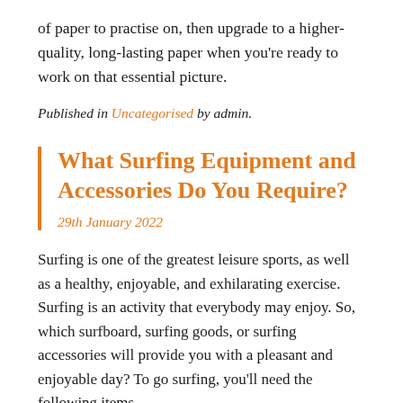of paper to practise on, then upgrade to a higher-quality, long-lasting paper when you're ready to work on that essential picture.
Published in Uncategorised by admin.
What Surfing Equipment and Accessories Do You Require?
29th January 2022
Surfing is one of the greatest leisure sports, as well as a healthy, enjoyable, and exhilarating exercise. Surfing is an activity that everybody may enjoy. So, which surfboard, surfing goods, or surfing accessories will provide you with a pleasant and enjoyable day? To go surfing, you'll need the following items.